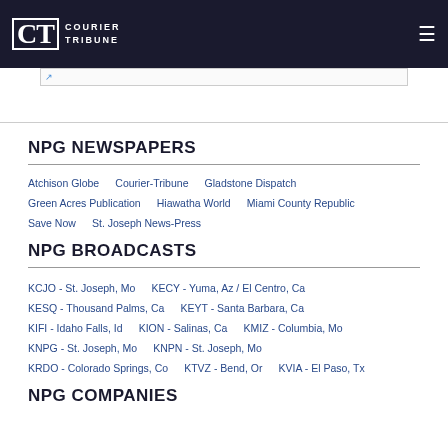COURIER TRIBUNE
NPG NEWSPAPERS
Atchison Globe
Courier-Tribune
Gladstone Dispatch
Green Acres Publication
Hiawatha World
Miami County Republic
Save Now
St. Joseph News-Press
NPG BROADCASTS
KCJO - St. Joseph, Mo
KECY - Yuma, Az / El Centro, Ca
KESQ - Thousand Palms, Ca
KEYT - Santa Barbara, Ca
KIFI - Idaho Falls, Id
KION - Salinas, Ca
KMIZ - Columbia, Mo
KNPG - St. Joseph, Mo
KNPN - St. Joseph, Mo
KRDO - Colorado Springs, Co
KTVZ - Bend, Or
KVIA - El Paso, Tx
NPG COMPANIES